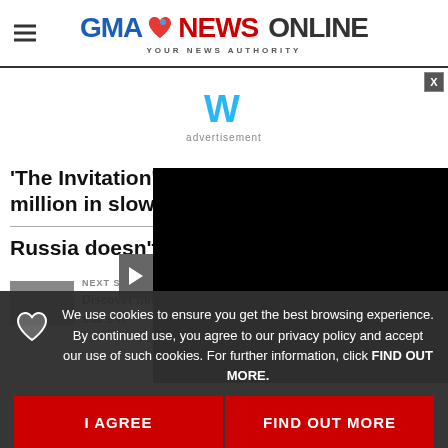GMA NEWS ONLINE - YOUR NEWS AUTHORITY
[Figure (logo): Weather widget icon (W symbol in teal)]
advertisement
'The Invitation' tops US box office with $7 million in slow weekend
Russia doesn't risk at Ukrai...
[Figure (screenshot): Black video player overlay with play button]
Next Story
Discover this Kapuso star's K-...
We use cookies to ensure you get the best browsing experience. By continued use, you agree to our privacy policy and accept our use of such cookies. For further information, click FIND OUT MORE.
I AGREE
FIND OUT MORE